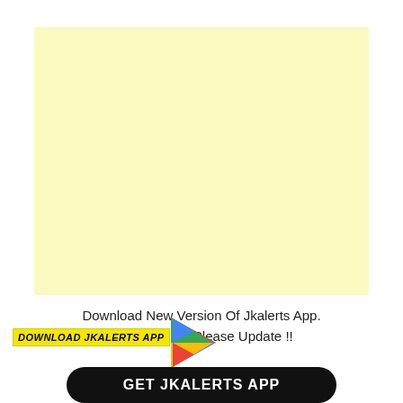[Figure (other): Large light yellow rectangle placeholder/advertisement area]
Download New Version Of Jkalerts App. Existing User Please Update !!
[Figure (logo): DOWNLOAD JKALERTS APP yellow badge label overlay]
[Figure (logo): Google Play Store triangle logo icon]
GET JKALERTS APP